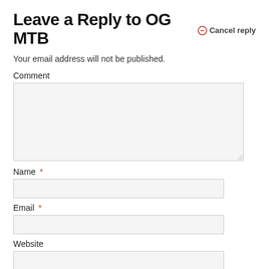Leave a Reply to OG MTB  Cancel reply
Your email address will not be published.
Comment
[Figure (screenshot): Comment textarea input box (empty, light gray background)]
Name *
[Figure (screenshot): Name text input field (empty, light gray background)]
Email *
[Figure (screenshot): Email text input field (empty, light gray background)]
Website
[Figure (screenshot): Website text input field (empty, light gray background)]
Save my name, email, and website in this browser for the next time I comment.